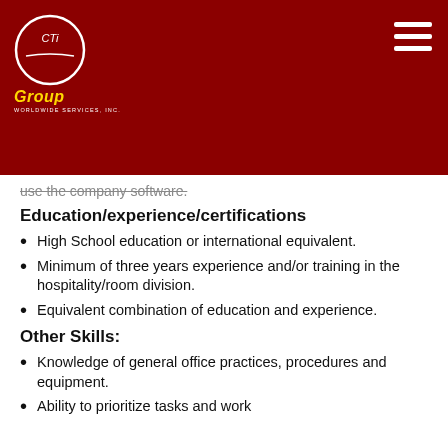[Figure (logo): CTI Group Worldwide Services Inc. logo — circular emblem with white text on dark red background, 'Group' in gold italic, 'Worldwide Services, Inc.' in small white text beneath]
use the company software.
Education/experience/certifications
High School education or international equivalent.
Minimum of three years experience and/or training in the hospitality/room division.
Equivalent combination of education and experience.
Other Skills:
Knowledge of general office practices, procedures and equipment.
Ability to prioritize tasks and work